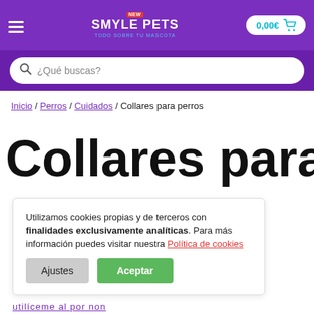SMYLE PETS - TODO SOBRE TU MASCOTA | 0,00€ Cart
¿Qué buscas?
Inicio / Perros / Cuidados / Collares para perros
Collares para
Utilizamos cookies propias y de terceros con finalidades exclusivamente analíticas. Para más información puedes visitar nuestra Política de cookies
Ajustes | Aceptar
mpo o por la ra que te uántos kms